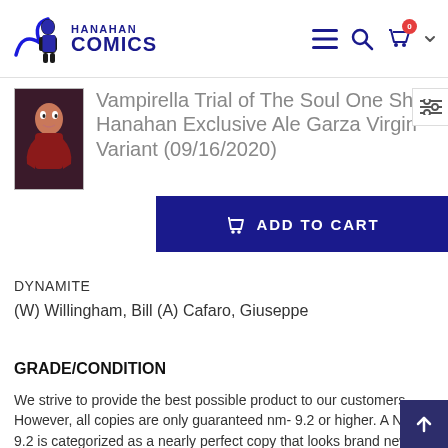[Figure (logo): Hanahan Comics logo with blue superhero silhouette and text HANAHAN COMICS in dark blue]
Vampirella Trial of The Soul One Shot Hanahan Exclusive Ale Garza Virgin Variant (09/16/2020)
[Figure (photo): Small comic book cover thumbnail showing Vampirella character]
DYNAMITE
(W) Willingham, Bill (A) Cafaro, Giuseppe
GRADE/CONDITION
We strive to provide the best possible product to our customers. However, all copies are only guaranteed nm- 9.2 or higher. A NM 9.2 is categorized as a nearly perfect copy that looks brand new with only a few very minor defects. Acceptable minor defects on a N...